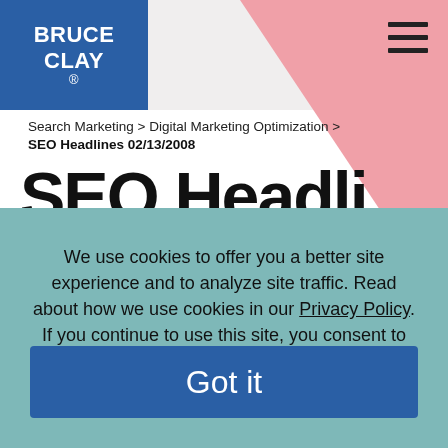Bruce Clay
Search Marketing > Digital Marketing Optimization >
SEO Headlines 02/13/2008
SEO Headlines
We use cookies to offer you a better site experience and to analyze site traffic. Read about how we use cookies in our Privacy Policy. If you continue to use this site, you consent to our use of cookies.
Got it